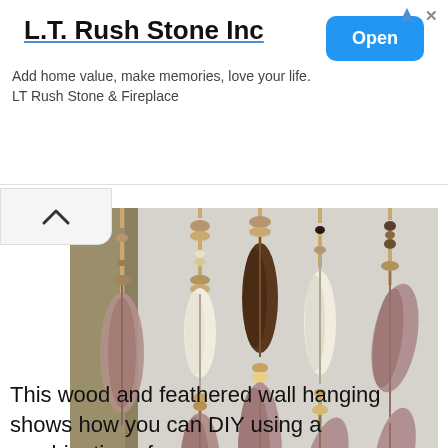L.T. Rush Stone Inc
Add home value, make memories, love your life. LT Rush Stone & Fireplace
[Figure (photo): A photo of a person hanging a DIY wall decoration made of wooden beads, driftwood pieces, and feathers (white, dark brown, and mauve/dusty pink) strung on multiple vertical strands against a light grey wall.]
This wood and feathered wall hanging shows how you can DIY using a combination of